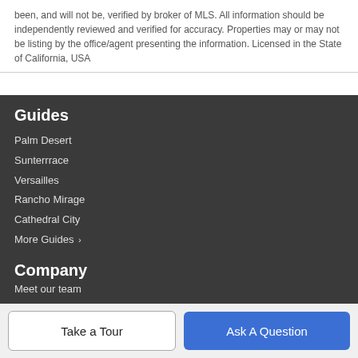been, and will not be, verified by broker of MLS. All information should be independently reviewed and verified for accuracy. Properties may or may not be listing by the office/agent presenting the information. Licensed in the State of California, USA
Guides
Palm Desert
Sunterrrace
Versailles
Rancho Mirage
Cathedral City
More Guides >
Company
Take a Tour | Ask A Question